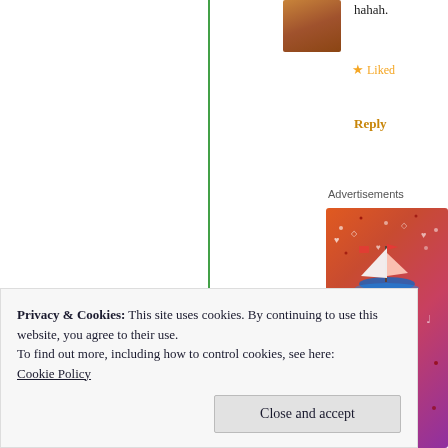[Figure (photo): Profile photo of a person, cropped to show face area, upper right corner of page]
hahah.
★ Liked
Reply
Advertisements
[Figure (photo): Colorful advertisement image with orange-pink-purple gradient background, sailboat sticker, skull illustration, and large bold text letters 'FA' and 'tu' visible]
Privacy & Cookies: This site uses cookies. By continuing to use this website, you agree to their use.
To find out more, including how to control cookies, see here:
Cookie Policy
Close and accept